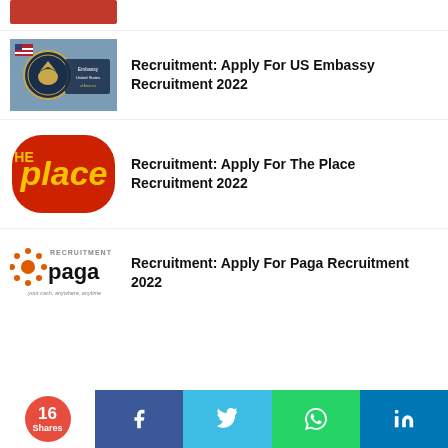[Figure (other): Partial red/dark thumbnail at top, cropped]
Recruitment: Apply For US Embassy Recruitment 2022
[Figure (photo): US Embassy sign with eagle seal]
Recruitment: Apply For The Place Recruitment 2022
[Figure (logo): The Place restaurant logo - red and yellow]
Recruitment: Apply For Paga Recruitment 2022
[Figure (logo): Recruitment Paga logo - your cash, anywhere, anytime]